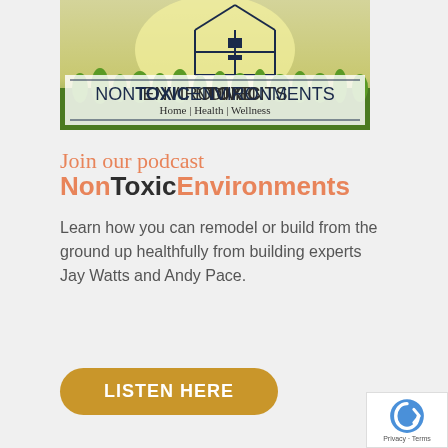[Figure (logo): NonToxic Environments banner logo with house graphic, grass background, and text 'NONTOXICENVIRONMENTS / Home | Health | Wellness']
Join our podcast
NonToxicEnvironments
Learn how you can remodel or build from the ground up healthfully from building experts Jay Watts and Andy Pace.
LISTEN HERE